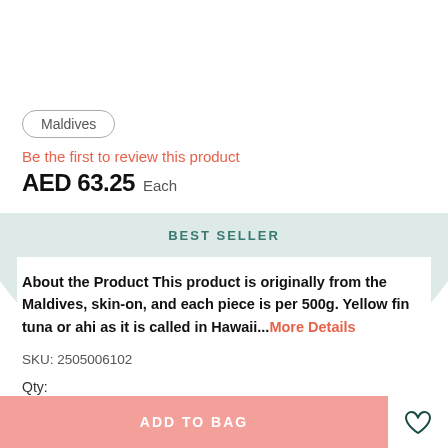Maldives
Be the first to review this product
AED 63.25  Each
BEST SELLER
About the Product This product is originally from the Maldives, skin-on, and each piece is per 500g. Yellow fin tuna or ahi as it is called in Hawaii...More Details
SKU: 2505006102
Qty:
ADD TO BAG